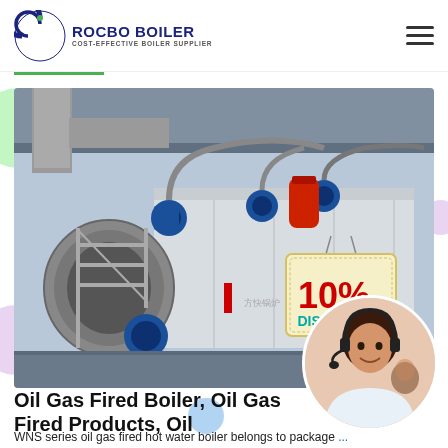[Figure (logo): Rocbo Boiler logo with circular C graphic and text 'ROCBO BOILER - COST-EFFECTIVE BOILER SUPPLIER']
[Figure (photo): Industrial oil gas fired boiler equipment in a factory setting, with blue motors and piping visible, '10% DISCOUNT' badge overlay]
Oil Gas Fired Boiler, Oil Gas Fired Products, Oil
WNS series oil gas fired hot water boiler belongs to package